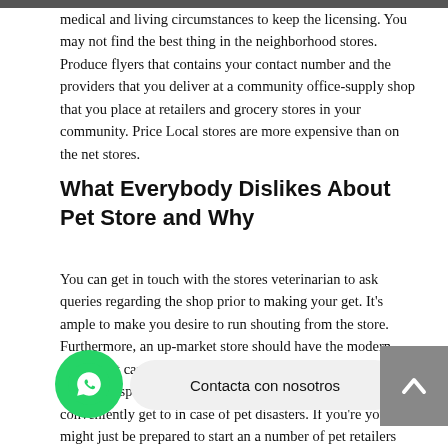medical and living circumstances to keep the licensing. You may not find the best thing in the neighborhood stores. Produce flyers that contains your contact number and the providers that you deliver at a community office-supply shop that you place at retailers and grocery stores in your community. Price Local stores are more expensive than on the net stores.
What Everybody Dislikes About Pet Store and Why
You can get in touch with the stores veterinarian to ask queries regarding the shop prior to making your get. It's ample to make you desire to run shouting from the store. Furthermore, an up-market store should have the modern goods that can help dog owners minimize within the sum of your time spent on pet care. You need a pet retailer you may conveniently get to in case of pet disasters. If you're you might just be prepared to start an a number of pet retailers readily available online for your minor pets by where you are allowed to purchase anything in their point of view.
[Figure (other): WhatsApp contact button (green circle with phone icon) and 'Contacta con nosotros' banner overlay, plus a grey scroll-to-top arrow button on the right]